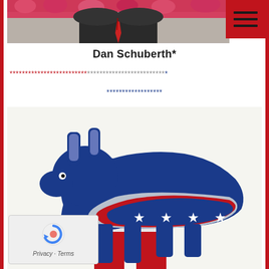[Figure (photo): Top portion of a person in a suit with a red tie, partial photo visible at top of page, with floral background]
Dan Schuberth*
************************* (red stars) ************************* (gray/light stars) * (blue star)
****************** (blue stars)
[Figure (photo): 3D Democratic Party donkey symbol in blue and red, standing on a red and white striped podium, on a white background]
Privacy · Terms